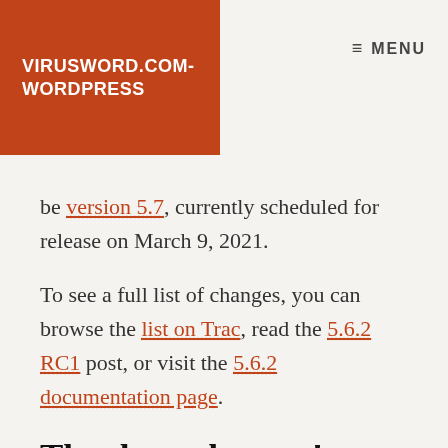VIRUSWORD.COM-WORDPRESS
≡ MENU
be version 5.7, currently scheduled for release on March 9, 2021.
To see a full list of changes, you can browse the list on Trac, read the 5.6.2 RC1 post, or visit the 5.6.2 documentation page.
Thanks and props!
The 5.6.2 release was led by